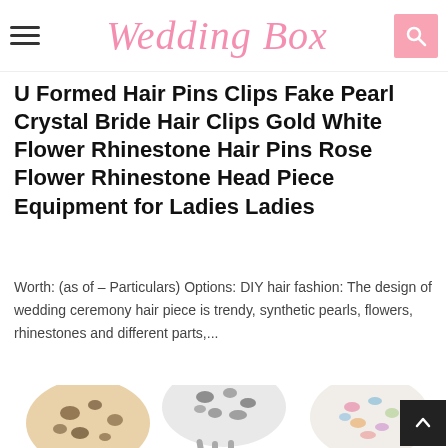Wedding Box
U Formed Hair Pins Clips Fake Pearl Crystal Bride Hair Clips Gold White Flower Rhinestone Hair Pins Rose Flower Rhinestone Head Piece Equipment for Ladies Ladies
Worth: (as of – Particulars) Options: DIY hair fashion: The design of wedding ceremony hair piece is trendy, synthetic pearls, flowers, rhinestones and different parts,...
[Figure (photo): Four decorative hair claw clips in various patterns: tortoiseshell/leopard print beige, black and white speckled, pink/blush smooth, and multicolor confetti patterns.]